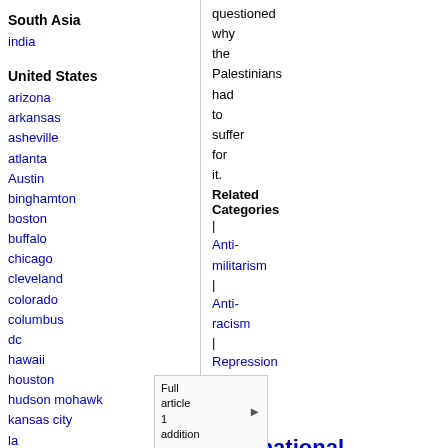South Asia
india
United States
arizona
arkansas
asheville
atlanta
Austin
binghamton
boston
buffalo
chicago
cleveland
colorado
columbus
dc
hawaii
houston
hudson mohawk
kansas city
la
madison
maine
miami
questioned why the Palestinians had to suffer for it.
Related Categories
| Anti-militarism | Anti-racism | Repression | World
Full article 1 addition
International day of solidarity with Jose